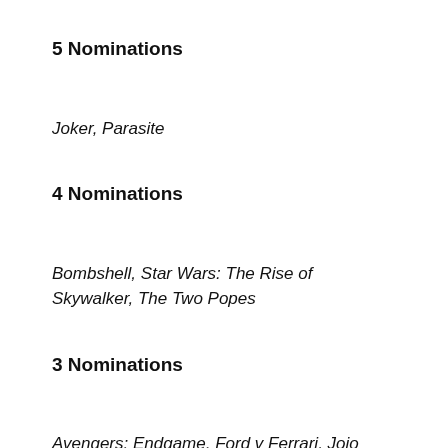5 Nominations
Joker, Parasite
4 Nominations
Bombshell, Star Wars: The Rise of Skywalker, The Two Popes
3 Nominations
Avengers: Endgame, Ford v Ferrari, Jojo Rabbit, Rocketman
2 Nominations